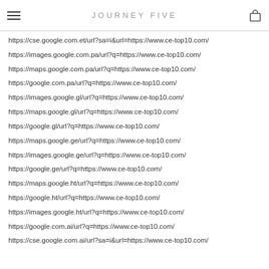JOURNEY FIVE
https://cse.google.com.et/url?sa=i&url=https://www.ce-top10.com/
https://images.google.com.pa/url?q=https://www.ce-top10.com/
https://maps.google.com.pa/url?q=https://www.ce-top10.com/
https://google.com.pa/url?q=https://www.ce-top10.com/
https://images.google.gl/url?q=https://www.ce-top10.com/
https://maps.google.gl/url?q=https://www.ce-top10.com/
https://google.gl/url?q=https://www.ce-top10.com/
https://maps.google.ge/url?q=https://www.ce-top10.com/
https://images.google.ge/url?q=https://www.ce-top10.com/
https://google.ge/url?q=https://www.ce-top10.com/
https://maps.google.ht/url?q=https://www.ce-top10.com/
https://google.ht/url?q=https://www.ce-top10.com/
https://images.google.ht/url?q=https://www.ce-top10.com/
https://google.com.ai/url?q=https://www.ce-top10.com/
https://cse.google.com.ai/url?sa=i&url=https://www.ce-top10.com/